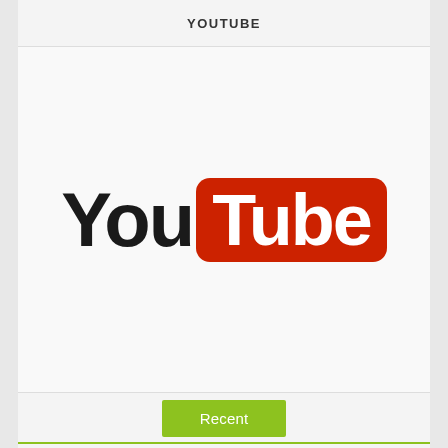YOUTUBE
[Figure (logo): YouTube logo with 'You' in black bold text and 'Tube' in white bold text on a red rounded rectangle background]
Recent